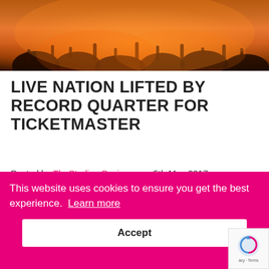[Figure (photo): Concert crowd photo with warm orange/amber lighting, people with hands raised]
LIVE NATION LIFTED BY RECORD QUARTER FOR TICKETMASTER
Posted by TheStadiumBusiness on 5th May 2017
Live Nation saw double-digit growth in revenue
This website uses cookies to ensure you get the best experience. Learn more
Accept